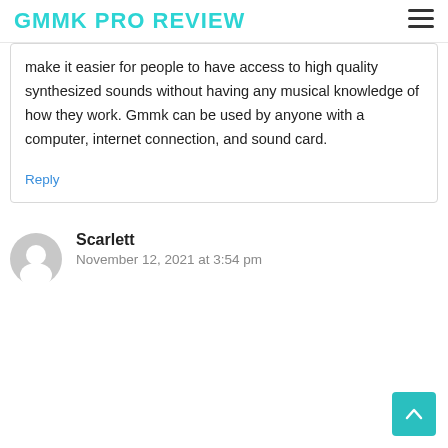GMMK PRO REVIEW
make it easier for people to have access to high quality synthesized sounds without having any musical knowledge of how they work. Gmmk can be used by anyone with a computer, internet connection, and sound card.
Reply
Scarlett
November 12, 2021 at 3:54 pm